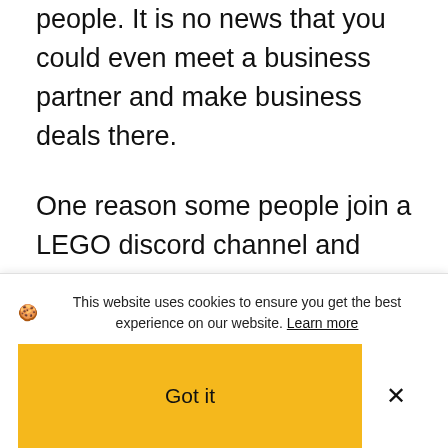people. It is no news that you could even meet a business partner and make business deals there.
One reason some people join a LEGO discord channel and other similar social media channels is that they want to learn building tricks. The fun in these bricks is the act of building them and playing with them. There are some bricks that are easy to build and there are those that are complicated. For the complicated ones, you may want building
This website uses cookies to ensure you get the best experience on our website. Learn more
Got it